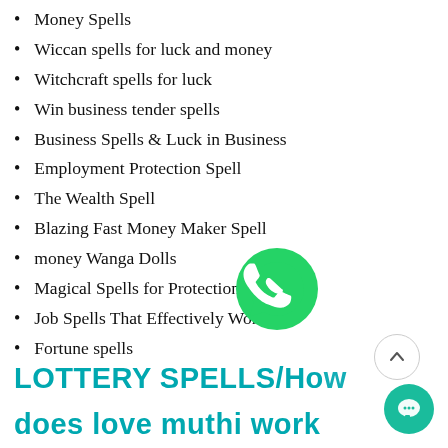Money Spells
Wiccan spells for luck and money
Witchcraft spells for luck
Win business tender spells
Business Spells & Luck in Business
Employment Protection Spell
The Wealth Spell
Blazing Fast Money Maker Spell
money Wanga Dolls
Magical Spells for Protection
Job Spells That Effectively Work
Fortune spells
LOTTERY SPELLS/How does love muthi work